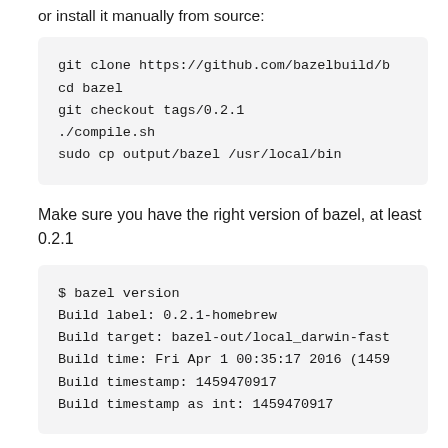or install it manually from source:
git clone https://github.com/bazelbuild/b
cd bazel
git checkout tags/0.2.1
./compile.sh
sudo cp output/bazel /usr/local/bin
Make sure you have the right version of bazel, at least 0.2.1
$ bazel version
Build label: 0.2.1-homebrew
Build target: bazel-out/local_darwin-fast
Build time: Fri Apr 1 00:35:17 2016 (1459
Build timestamp: 1459470917
Build timestamp as int: 1459470917
Checkout tensorflow